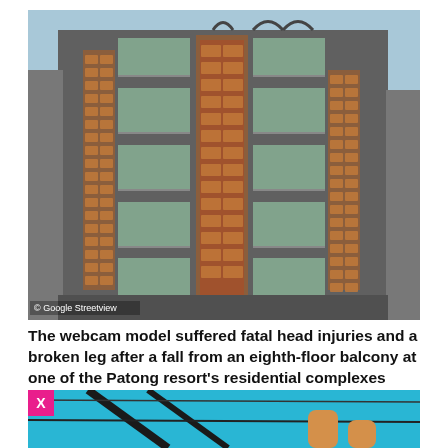[Figure (photo): Multi-story residential building with decorative copper/brick vertical panels and glass balconies, photographed from street level looking up. Google Streetview watermark in lower left.]
The webcam model suffered fatal head injuries and a broken leg after a fall from an eighth-floor balcony at one of the Patong resort's residential complexes
[Figure (photo): Partial photo showing a blue sky background with dark structural elements and what appears to be a person's legs, partially cropped. Has a pink/magenta X close button in the top-left corner.]